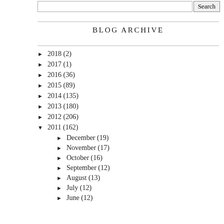BLOG ARCHIVE
► 2018 (2)
► 2017 (1)
► 2016 (36)
► 2015 (89)
► 2014 (135)
► 2013 (180)
► 2012 (206)
▼ 2011 (162)
► December (19)
► November (17)
► October (16)
► September (12)
► August (13)
► July (12)
► June (12)